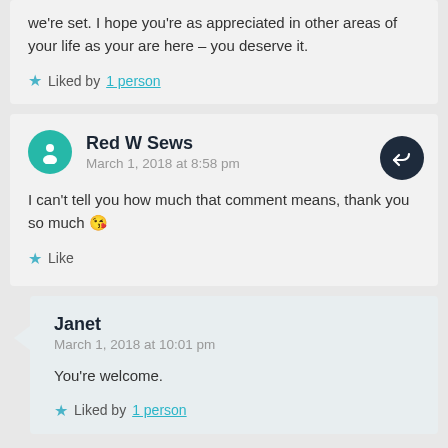we're set. I hope you're as appreciated in other areas of your life as your are here – you deserve it.
Liked by 1 person
Red W Sews
March 1, 2018 at 8:58 pm
I can't tell you how much that comment means, thank you so much 😘
Like
Janet
March 1, 2018 at 10:01 pm
You're welcome.
Liked by 1 person